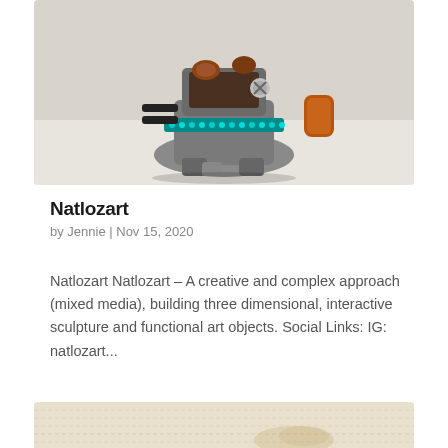[Figure (photo): A mixed media sculpture made of mechanical and electronic parts, screws, copper wire, and teal/blue rhinestones or beads, assembled into a robot-like figure, photographed on a white background.]
Natlozart
by Jennie | Nov 15, 2020
Natlozart Natlozart – A creative and complex approach (mixed media), building three dimensional, interactive sculpture and functional art objects. Social Links: IG: natlozart...
[Figure (photo): Partial view of a linen or canvas fabric with a cream/beige color, showing texture and a slight stain or fold mark.]